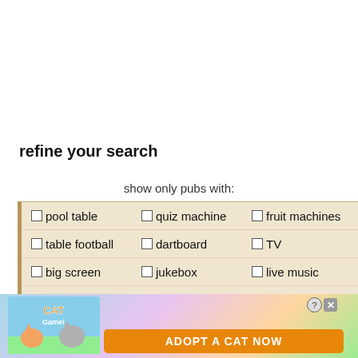refine your search
show only pubs with:
| Column1 | Column2 | Column3 |
| --- | --- | --- |
| pool table | quiz machine | fruit machines |
| table football | dartboard | TV |
| big screen | jukebox | live music |
| quiz night | late licence | wireless internet a... |
| real ale | food served | sunday roast |
[Figure (screenshot): Advertisement overlay - Cat game app ad with 'ADOPT A CAT NOW' banner and cat characters]